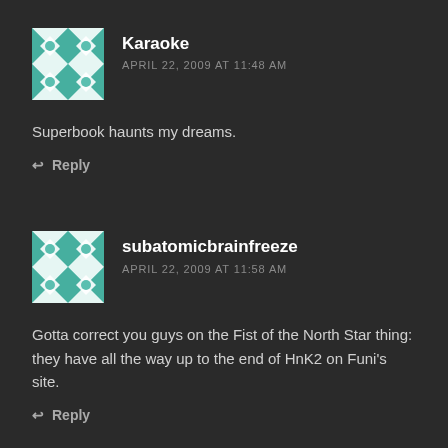[Figure (illustration): Teal and white quilt-pattern avatar for user Karaoke]
Karaoke
APRIL 22, 2009 AT 11:48 AM
Superbook haunts my dreams.
↩ Reply
[Figure (illustration): Teal and white quilt-pattern avatar for user subatomicbrainfreeze]
subatomicbrainfreeze
APRIL 22, 2009 AT 11:58 AM
Gotta correct you guys on the Fist of the North Star thing: they have all the way up to the end of HnK2 on Funi's site.
↩ Reply